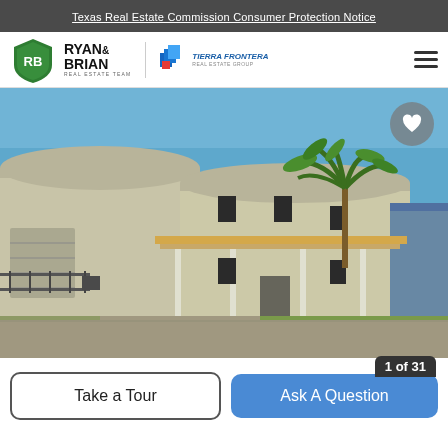Texas Real Estate Commission Consumer Protection Notice
[Figure (logo): Ryan & Brian Real Estate Team logo with green shield and RB initials, alongside Tierra Frontera Real Estate logo]
[Figure (photo): Exterior photo of a large commercial/warehouse building with beige metal walls, covered porch with white posts, palm tree on right side, blue sky background, parking lot in foreground]
Take a Tour
Ask A Question
1 of 31